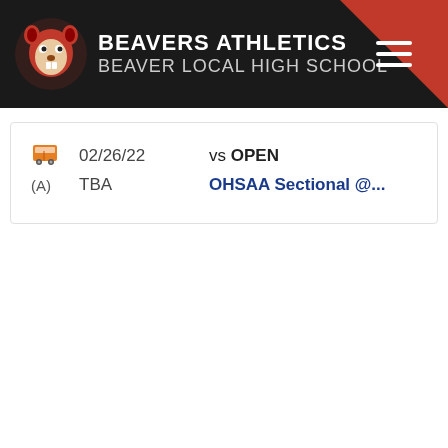BEAVERS ATHLETICS
BEAVER LOCAL HIGH SCHOOL
02/26/22  vs OPEN
(A)  TBA  OHSAA Sectional @...